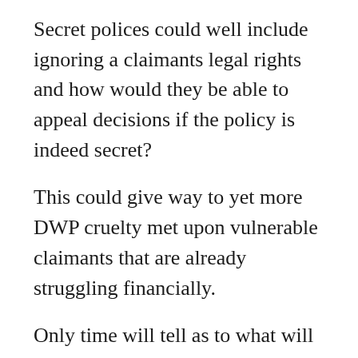Secret polices could well include ignoring a claimants legal rights and how would they be able to appeal decisions if the policy is indeed secret?
This could give way to yet more DWP cruelty met upon vulnerable claimants that are already struggling financially.
Only time will tell as to what will happen. The committee needs to request the publishing of the reports as a matter of great urgency and not rely upon Coffey being honest and open about the information that she has.
I do know one thing though. The reports could